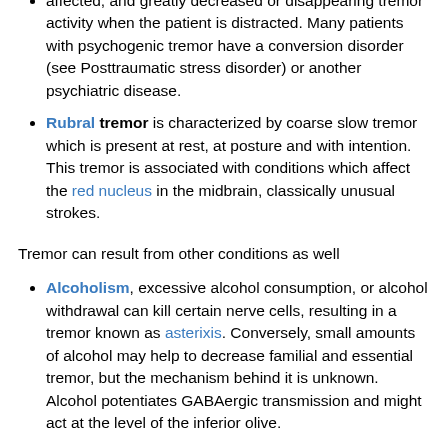affected, and greatly decreased or disappearing tremor activity when the patient is distracted. Many patients with psychogenic tremor have a conversion disorder (see Posttraumatic stress disorder) or another psychiatric disease.
Rubral tremor is characterized by coarse slow tremor which is present at rest, at posture and with intention. This tremor is associated with conditions which affect the red nucleus in the midbrain, classically unusual strokes.
Tremor can result from other conditions as well
Alcoholism, excessive alcohol consumption, or alcohol withdrawal can kill certain nerve cells, resulting in a tremor known as asterixis. Conversely, small amounts of alcohol may help to decrease familial and essential tremor, but the mechanism behind it is unknown. Alcohol potentiates GABAergic transmission and might act at the level of the inferior olive.
Tremor in peripheral neuropathy may occur when the nerves that supply the body's muscles are